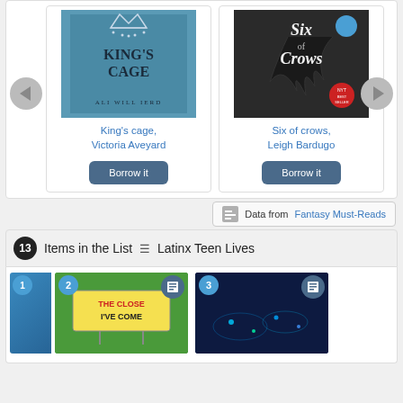[Figure (screenshot): Book carousel showing King's cage by Victoria Aveyard and Six of crows by Leigh Bardugo with Borrow it buttons and navigation arrows]
King's cage, Victoria Aveyard
Six of crows, Leigh Bardugo
Data from Fantasy Must-Reads
13 Items in the List ≡ Latinx Teen Lives
[Figure (screenshot): Second carousel showing items 2 and 3 from Latinx Teen Lives list, partially visible book covers with number badges and document type icons]